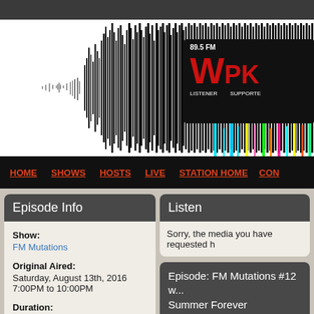[Figure (illustration): WPKN 89.5 FM radio station banner with audio waveform graphic and colorful frequency bars, partially cropped on right]
HOME  SHOWS  HOSTS  LIVE  STATION HOME  CON...
Episode Info
Listen
Show:
FM Mutations
Original Aired:
Saturday, August 13th, 2016
7:00PM to 10:00PM
Duration:
3 hours
Sorry, the media you have requested h...
Episode: FM Mutations #12 w... Summer Forever
FM Mutations 12: Summer Forever